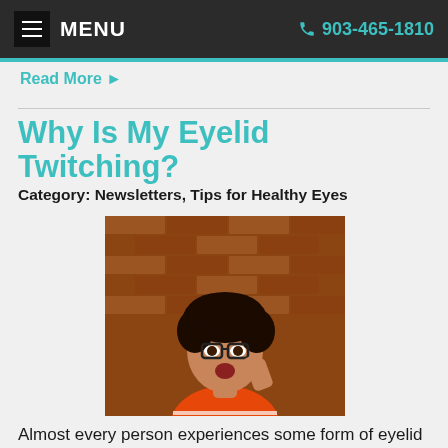MENU   903-465-1810
Read More ▶
Why Is My Eyelid Twitching?
Category: Newsletters, Tips for Healthy Eyes
[Figure (photo): Young woman with curly hair and glasses, wearing an orange striped shirt, looking surprised, in front of a brick wall background]
Almost every person experiences some form of eyelid twitching in his or her lifetime. Known medically as blepharospasm, eyelid twitching is characterized by the involuntary movement or spasm of the eyelid muscles. Spasms typically occur every few seconds over the course of several minutes. Twitching